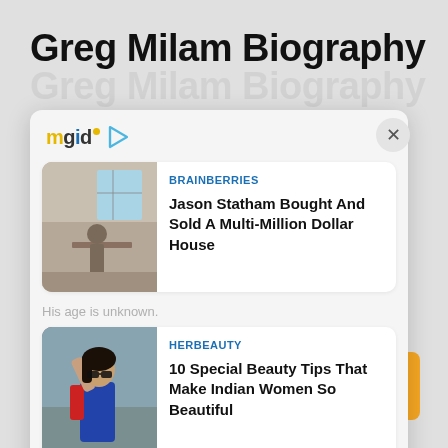Greg Milam Biography
Greg Milam is an author and a media personality serving as US Correspondent for The...
[Figure (screenshot): mgid advertising widget with two sponsored content cards. First card: BRAINBERRIES - Jason Statham Bought And Sold A Multi-Million Dollar House (image of person in room). Second card: HERBEAUTY - 10 Special Beauty Tips That Make Indian Women So Beautiful (image of woman).]
His age is unknown.